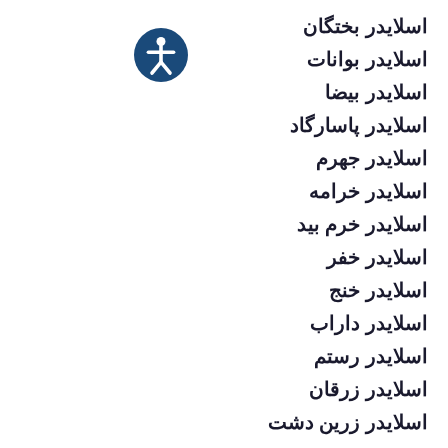اسلایدر بختگان
اسلایدر بوانات
اسلایدر بیضا
اسلایدر پاسارگاد
اسلایدر جهرم
اسلایدر خرامه
اسلایدر خرم بید
اسلایدر خفر
اسلایدر خنج
اسلایدر داراب
اسلایدر رستم
اسلایدر زرقان
اسلایدر زرین دشت